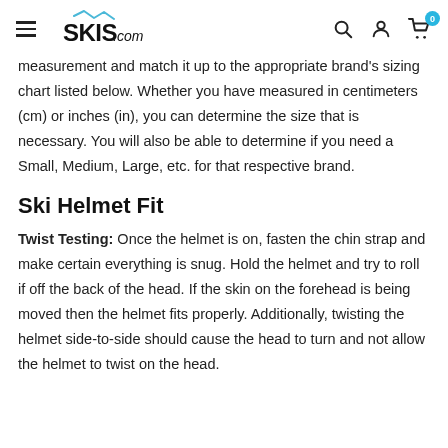SKIS.com
measurement and match it up to the appropriate brand's sizing chart listed below. Whether you have measured in centimeters (cm) or inches (in), you can determine the size that is necessary. You will also be able to determine if you need a Small, Medium, Large, etc. for that respective brand.
Ski Helmet Fit
Twist Testing: Once the helmet is on, fasten the chin strap and make certain everything is snug. Hold the helmet and try to roll if off the back of the head. If the skin on the forehead is being moved then the helmet fits properly. Additionally, twisting the helmet side-to-side should cause the head to turn and not allow the helmet to twist on the head.